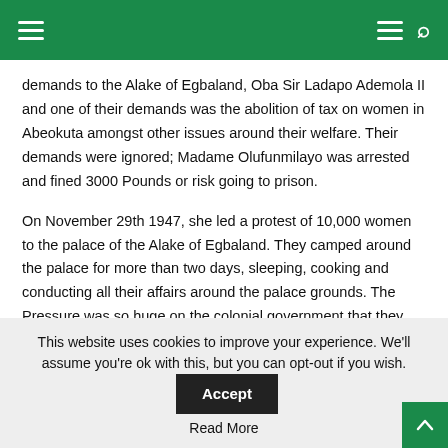[Navigation bar with hamburger menu and search icon]
demands to the Alake of Egbaland, Oba Sir Ladapo Ademola II and one of their demands was the abolition of tax on women in Abeokuta amongst other issues around their welfare. Their demands were ignored; Madame Olufunmilayo was arrested and fined 3000 Pounds or risk going to prison.
On November 29th 1947, she led a protest of 10,000 women to the palace of the Alake of Egbaland. They camped around the palace for more than two days, sleeping, cooking and conducting all their affairs around the palace grounds. The Pressure was so huge on the colonial government that they had to abolish the tax laws and the Alake of Egbaland abdicated the throne on 3rd of January 1949.
This website uses cookies to improve your experience. We'll assume you're ok with this, but you can opt-out if you wish. Accept Read More